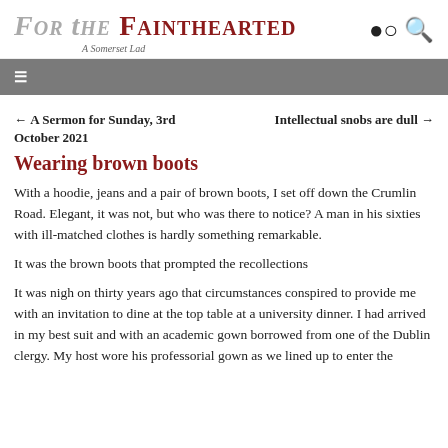For the Fainthearted — A Somerset Lad
← A Sermon for Sunday, 3rd October 2021    Intellectual snobs are dull →
Wearing brown boots
With a hoodie, jeans and a pair of brown boots, I set off down the Crumlin Road. Elegant, it was not, but who was there to notice? A man in his sixties with ill-matched clothes is hardly something remarkable.
It was the brown boots that prompted the recollections
It was nigh on thirty years ago that circumstances conspired to provide me with an invitation to dine at the top table at a university dinner. I had arrived in my best suit and with an academic gown borrowed from one of the Dublin clergy. My host wore his professorial gown as we lined up to enter the